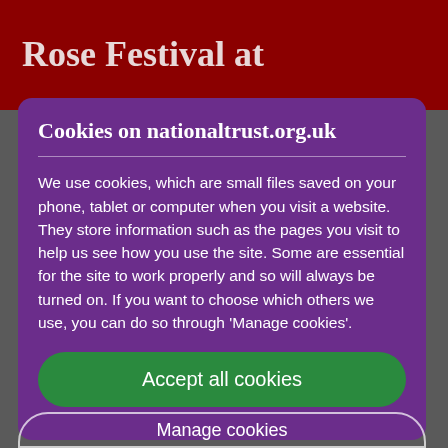Rose Festival at
Cookies on nationaltrust.org.uk
We use cookies, which are small files saved on your phone, tablet or computer when you visit a website. They store information such as the pages you visit to help us see how you use the site. Some are essential for the site to work properly and so will always be turned on. If you want to choose which others we use, you can do so through 'Manage cookies'.
Accept all cookies
Manage cookies